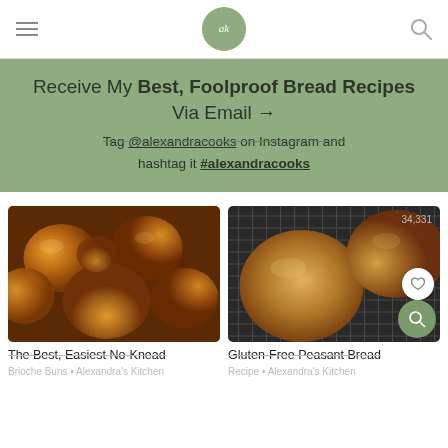ak (logo)
Receive My Best, Foolproof Bread Recipes Via Email →
Tag @alexandracooks on Instagram and hashtag it #alexandracooks
[Figure (photo): Overhead view of golden brioche buns in a baking pan]
[Figure (photo): Gluten-free peasant bread rolls on a wire cooling rack, with heart and search icons overlay]
The Best, Easiest No-Knead
Brioche Buns • Alexandra's Kitchen
Gluten-Free Peasant Bread Recipe • Alexandra's Kitchen